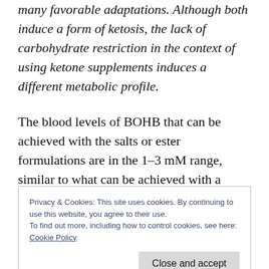many favorable adaptations. Although both induce a form of ketosis, the lack of carbohydrate restriction in the context of using ketone supplements induces a different metabolic profile.
The blood levels of BOHB that can be achieved with the salts or ester formulations are in the 1–3 mM range, similar to what can be achieved with a well-formulated ketogenic diet in insulin sensitive humans. In more insulin resistant humans, the ester formulation may
Privacy & Cookies: This site uses cookies. By continuing to use this website, you agree to their use.
To find out more, including how to control cookies, see here: Cookie Policy
Furthermore, the association between very